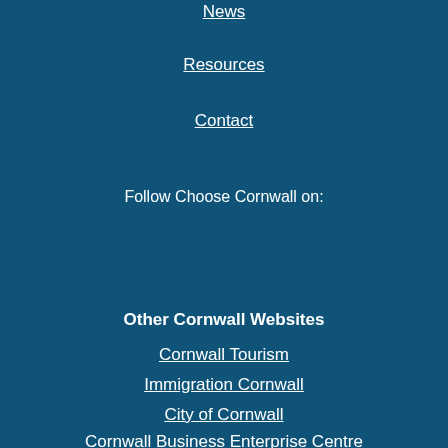News
Resources
Contact
Follow Choose Cornwall on:
Other Cornwall Websites
Cornwall Tourism
Immigration Cornwall
City of Cornwall
Cornwall Business Enterprise Centre